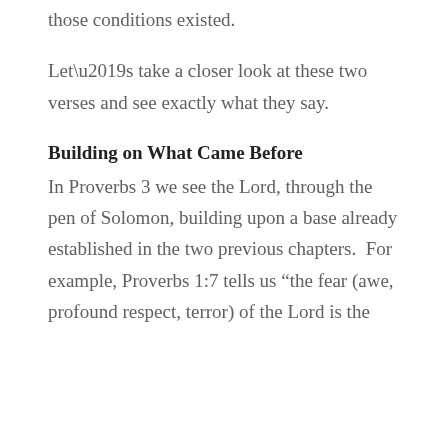those conditions existed.
Let’s take a closer look at these two verses and see exactly what they say.
Building on What Came Before
In Proverbs 3 we see the Lord, through the pen of Solomon, building upon a base already established in the two previous chapters.  For example, Proverbs 1:7 tells us “the fear (awe, profound respect, terror) of the Lord is the